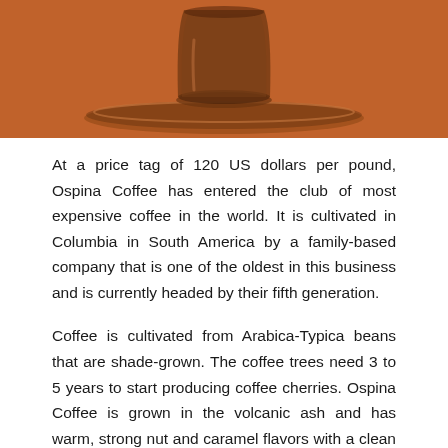[Figure (photo): Photo of a glass espresso cup on a saucer against an orange/brown background, showing only the bottom portion of the cup and saucer.]
At a price tag of 120 US dollars per pound, Ospina Coffee has entered the club of most expensive coffee in the world. It is cultivated in Columbia in South America by a family-based company that is one of the oldest in this business and is currently headed by their fifth generation.
Coffee is cultivated from Arabica-Typica beans that are shade-grown. The coffee trees need 3 to 5 years to start producing coffee cherries. Ospina Coffee is grown in the volcanic ash and has warm, strong nut and caramel flavors with a clean finish.
The specific production process has helped the estate to grow the most expensive coffee in the world that is